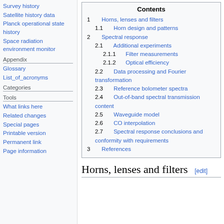Survey history
Satellite history data
Planck operational state history
Space radiation environment monitor
Appendix
Glossary
List_of_acronyms
Categories
Tools
What links here
Related changes
Special pages
Printable version
Permanent link
Page information
| Contents |
| --- |
| 1  Horns, lenses and filters |
| 1.1  Horn design and patterns |
| 2  Spectral response |
| 2.1  Additional experiments |
| 2.1.1  Filter measurements |
| 2.1.2  Optical efficiency |
| 2.2  Data processing and Fourier transformation |
| 2.3  Reference bolometer spectra |
| 2.4  Out-of-band spectral transmission content |
| 2.5  Waveguide model |
| 2.6  CO interpolation |
| 2.7  Spectral response conclusions and conformity with requirements |
| 3  References |
Horns, lenses and filters  [edit]